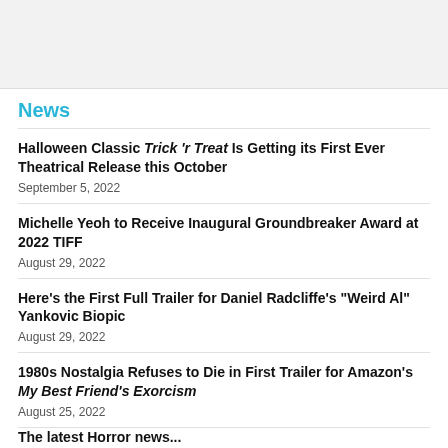News
Halloween Classic Trick 'r Treat Is Getting its First Ever Theatrical Release this October
September 5, 2022
Michelle Yeoh to Receive Inaugural Groundbreaker Award at 2022 TIFF
August 29, 2022
Here's the First Full Trailer for Daniel Radcliffe's "Weird Al" Yankovic Biopic
August 29, 2022
1980s Nostalgia Refuses to Die in First Trailer for Amazon's My Best Friend's Exorcism
August 25, 2022
The latest Horror news...